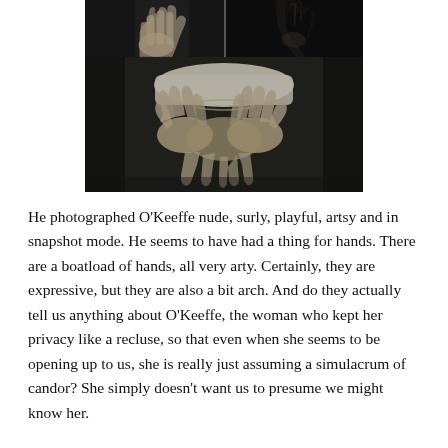[Figure (photo): Black and white photographs of hands arranged in a collage: top row shows two panels of expressive hands against dark backgrounds, bottom panel shows two hands intertwined with a bracelet visible.]
He photographed O'Keeffe nude, surly, playful, artsy and in snapshot mode. He seems to have had a thing for hands. There are a boatload of hands, all very arty. Certainly, they are expressive, but they are also a bit arch. And do they actually tell us anything about O'Keeffe, the woman who kept her privacy like a recluse, so that even when she seems to be opening up to us, she is really just assuming a simulacrum of candor? She simply doesn't want us to presume we might know her.